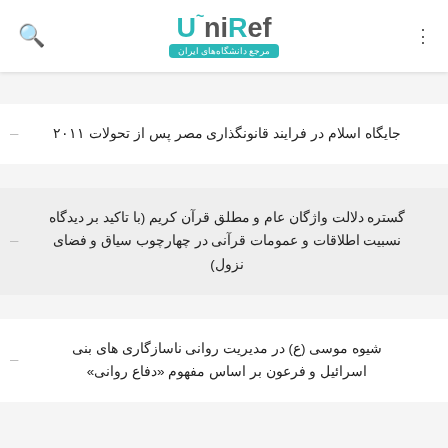UniRef - مرجع دانشگاه‌های ایران
جایگاه اسلام در فرایند قانونگذاری مصر پس از تحولات ۲۰۱۱
گستره دلالت واژگان عام و مطلق قرآن کریم (با تاکید بر دیدگاه نسبیت اطلاقات و عمومات قرآنی در چهارچوب سیاق و فضای نزول)
شیوه موسی (ع) در مدیریت روانی ناسازگاری های بنی اسرائیل و فرعون بر اساس مفهوم «دفاع روانی»